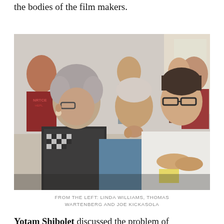the bodies of the film makers.
[Figure (photo): Three people seated in an audience listening attentively. From the left: an older woman with short grey hair and glasses wearing a black and white patterned top, an older man in a blue shirt with his hand raised to his chin, and a younger man in a white shirt with glasses leaning forward with hands clasped.]
FROM THE LEFT: LINDA WILLIAMS, THOMAS WARTENBERG AND JOE KICKASOLA
Yotam Shibolet discussed the problem of indexicality in the film "Waltz with Bashir" (2008) by Ari Folman, offering a different reading of the famous end sequence of the